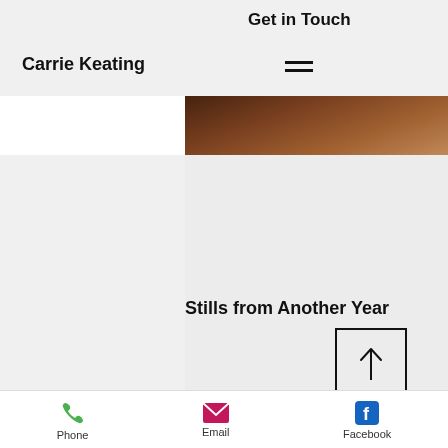Get in Touch
Carrie Keating
[Figure (photo): Partial close-up photo of a person with dark/auburn hair against a dark background, top-right portion of the page]
Stills from Another Year
[Figure (other): Back to top button with an upward arrow inside a square border]
Phone   Email   Facebook